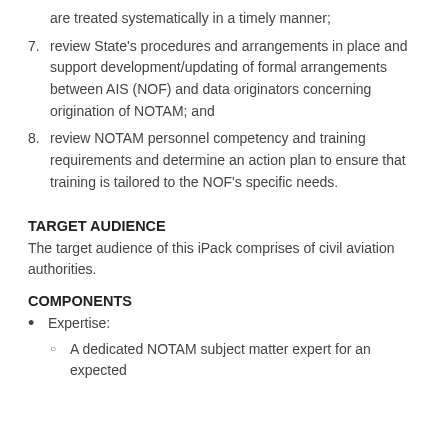are treated systematically in a timely manner;
7. review State's procedures and arrangements in place and support development/updating of formal arrangements between AIS (NOF) and data originators concerning origination of NOTAM; and
8. review NOTAM personnel competency and training requirements and determine an action plan to ensure that training is tailored to the NOF's specific needs.
TARGET AUDIENCE
The target audience of this iPack comprises of civil aviation authorities.
COMPONENTS
Expertise:
A dedicated NOTAM subject matter expert for an expected